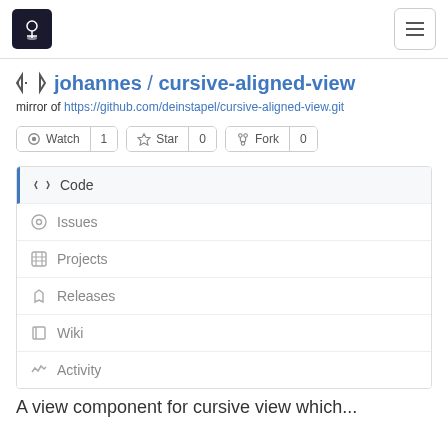[Figure (screenshot): Gitea/GitHub-style repository page header with logo and hamburger menu]
johannes / cursive-aligned-view
mirror of https://github.com/deinstapel/cursive-aligned-view.git
Watch 1  Star 0  Fork 0
Code
Issues
Projects
Releases
Wiki
Activity
A view component for cursive view which...